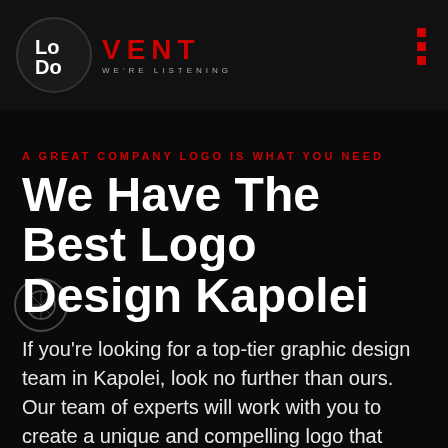VENT WE'RE LISTENING
A GREAT COMPANY LOGO IS WHAT YOU NEED
We Have The Best Logo Design Kapolei
If you're looking for a top-tier graphic design team in Kapolei, look no further than ours. Our team of experts will work with you to create a unique and compelling logo that perfectly represents your brand. We have years of experience in creating successful logos and we're confident that we can do the